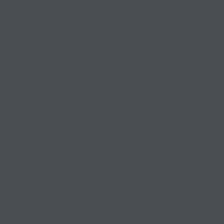[Figure (photo): Dark gray/charcoal colored panel occupying the left approximately 75% of the page]
The company firm Big Sky Sky Partner...
Mariah Pow axis wind tu expected to...
Company M shaped Win use.
The business the world of...
Marquiss W square-shap commercial...
Southwest W year, makes or business.
Mariah Po
Wednesday, A